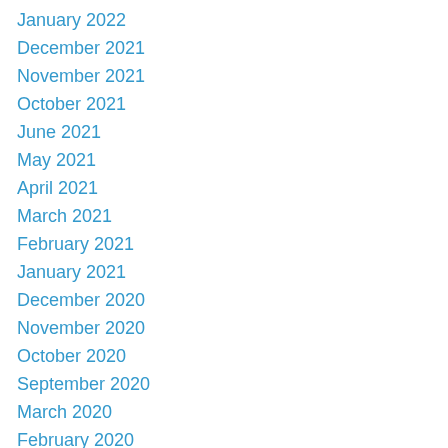January 2022
December 2021
November 2021
October 2021
June 2021
May 2021
April 2021
March 2021
February 2021
January 2021
December 2020
November 2020
October 2020
September 2020
March 2020
February 2020
January 2020
December 2019
November 2019
October 2019